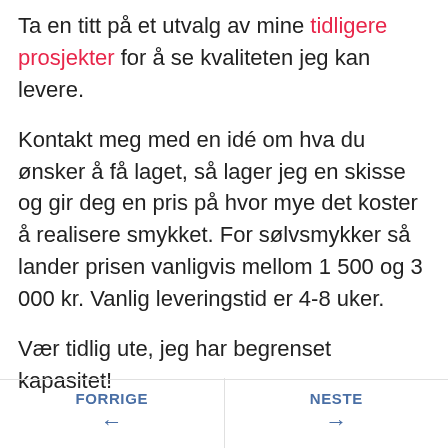Ta en titt på et utvalg av mine tidligere prosjekter for å se kvaliteten jeg kan levere.
Kontakt meg med en idé om hva du ønsker å få laget, så lager jeg en skisse og gir deg en pris på hvor mye det koster å realisere smykket. For sølvsmykker så lander prisen vanligvis mellom 1 500 og 3 000 kr. Vanlig leveringstid er 4-8 uker.
Vær tidlig ute, jeg har begrenset kapasitet!
FORRIGE  NESTE